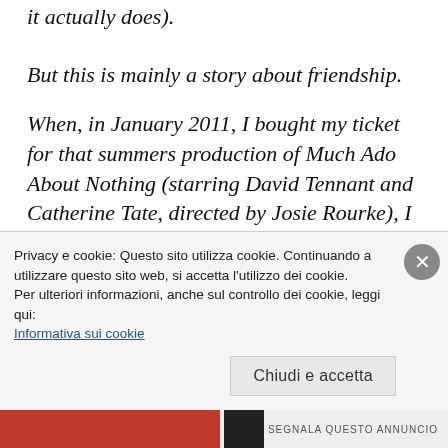it actually does).
But this is mainly a story about friendship.
When, in January 2011, I bought my ticket for that summers production of Much Ado About Nothing (starring David Tennant and Catherine Tate, directed by Josie Rourke), I could not have imagined that so many good
Privacy e cookie: Questo sito utilizza cookie. Continuando a utilizzare questo sito web, si accetta l'utilizzo dei cookie.
Per ulteriori informazioni, anche sul controllo dei cookie, leggi qui:
Informativa sui cookie
Chiudi e accetta